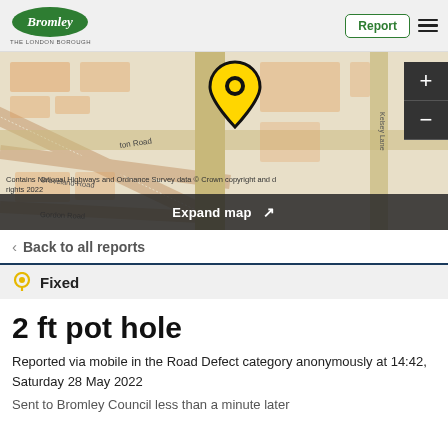Bromley - The London Borough | Report | Menu
[Figure (map): Street map showing a location pin (yellow teardrop marker) over a road intersection in Bromley, London. Roads labeled include Groveland Road, Gordon Road, and Kelsey Lane. Map overlay shows zoom controls (+/-) and copyright notice: Contains National Highways and Ordnance Survey data © Crown copyright and database rights 2022. An 'Expand map' bar appears at the bottom.]
< Back to all reports
Fixed
2 ft pot hole
Reported via mobile in the Road Defect category anonymously at 14:42, Saturday 28 May 2022
Sent to Bromley Council less than a minute later